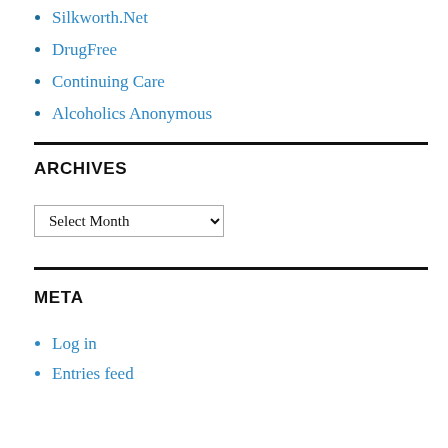Silkworth.Net
DrugFree
Continuing Care
Alcoholics Anonymous
ARCHIVES
Select Month (dropdown)
META
Log in